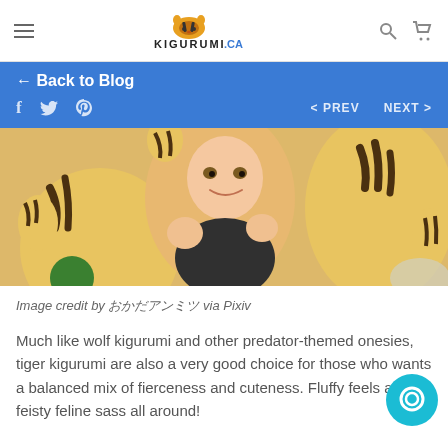KIGURUMI.CA
← Back to Blog
< PREV   NEXT >
[Figure (illustration): Anime-style illustration of characters wearing tiger kigurumi onesies]
Image credit by おかだアンミツ via Pixiv
Much like wolf kigurumi and other predator-themed onesies, tiger kigurumi are also a very good choice for those who wants a balanced mix of fierceness and cuteness. Fluffy feels and feisty feline sass all around!